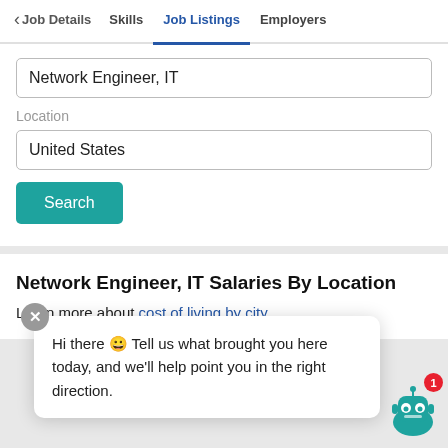‹ Job Details   Skills   Job Listings   Employers
Network Engineer, IT
Location
United States
Search
Network Engineer, IT Salaries By Location
Learn more about cost of living by city.
Hi there 🤖 Tell us what brought you here today, and we'll help point you in the right direction.